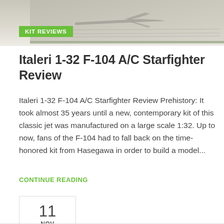[Figure (photo): Top portion of a model kit box showing aircraft (F-104 Starfighter) illustration against sky background]
KIT REVIEWS
Italeri 1-32 F-104 A/C Starfighter Review
Italeri 1-32 F-104 A/C Starfighter Review Prehistory: It took almost 35 years until a new, contemporary kit of this classic jet was manufactured on a large scale 1:32. Up to now, fans of the F-104 had to fall back on the time-honored kit from Hasegawa in order to build a model...
CONTINUE READING
11 NOV